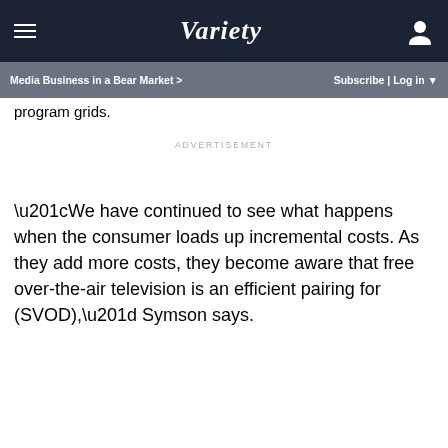VARIETY
Media Business in a Bear Market > | Subscribe | Log in
program grids.
ADVERTISEMENT
“We have continued to see what happens when the consumer loads up incremental costs. As they add more costs, they become aware that free over-the-air television is an efficient pairing for (SVOD),” Symson says.